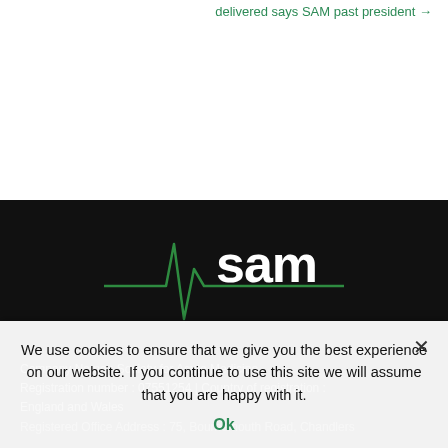delivered says SAM past president →
[Figure (logo): SAM (Society for Acute Medicine) logo with green heartbeat line and white text on dark background]
Company Name : Society for Acute Medicine
Registration number : 07551254 | Country of registration : England and Wales
Registered Office Address : 75, Bournemouth Road, Chandlers...
We use cookies to ensure that we give you the best experience on our website. If you continue to use this site we will assume that you are happy with it.
Ok